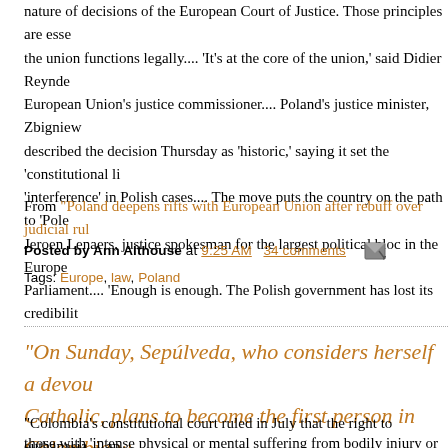nature of decisions of the European Court of Justice. Those principles are essential to how the union functions legally.... 'It's at the core of the union,' said Didier Reynders, the European Union's justice commissioner.... Poland's justice minister, Zbigniew Ziobro, described the decision Thursday as 'historic,' saying it set the 'constitutional limits' on 'interference' in Polish cases.... The move puts the country on the path to 'Polexit,' said Jeroen Lenaers, justice spokesman for the largest political bloc in the European Parliament.... 'Enough is enough. The Polish government has lost its credibility...
From "Poland deepens rifts with European Union after rebuff over judicial rules"
Posted by Ann Althouse at 9:25 AM  34 comments
Tags: Europe, law, Poland
"On Sunday, Sepúlveda, who considers herself a devout Catholic, plans to become the first person in Colombia with a terminal prognosis to die by legally authorized euthanasia...
"Colombia's constitutional court ruled in July that the right to euthanasia.... ap those with 'intense physical or mental suffering from bodily injury or serious...